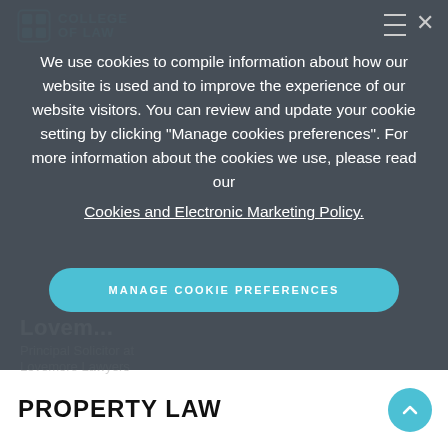[Figure (screenshot): College of Law logo in top left corner with teal/cyan color]
We use cookies to compile information about how our website is used and to improve the experience of our website visitors. You can review and update your cookie setting by clicking "Manage cookies preferences". For more information about the cookies we use, please read our Cookies and Electronic Marketing Policy.
MANAGE COOKIE PREFERENCES
Lovemore
Principal Solicitor at
Lovemore Lawyers
PROPERTY LAW